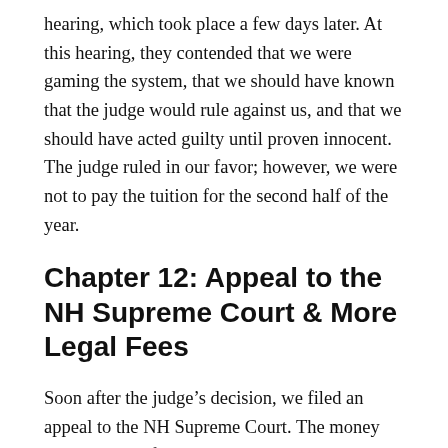hearing, which took place a few days later. At this hearing, they contended that we were gaming the system, that we should have known that the judge would rule against us, and that we should have acted guilty until proven innocent. The judge ruled in our favor; however, we were not to pay the tuition for the second half of the year.
Chapter 12: Appeal to the NH Supreme Court & More Legal Fees
Soon after the judge's decision, we filed an appeal to the NH Supreme Court. The money we had raised for the injunction hearings had run out, and it was time to start the GoFundMe again. The cost for an appeal was estimated to run about $25,000 or even more. At the date of this writing, we have raised about $2,500 from locals, but we also have the support of EdChoice, a national organization that has been